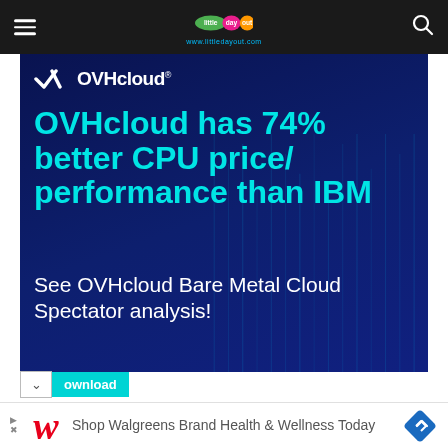little day out — www.littledayout.com
[Figure (screenshot): OVHcloud advertisement banner on dark navy background with digital rain effect. OVHcloud logo at top left. Headline in cyan: 'OVHcloud has 74% better CPU price/performance than IBM'. Subtext in white: 'See OVHcloud Bare Metal Cloud Spectator analysis!']
download
[Figure (screenshot): Walgreens advertisement: 'Shop Walgreens Brand Health & Wellness Today' with Walgreens cursive W logo in red and blue diamond navigation arrow icon on right.]